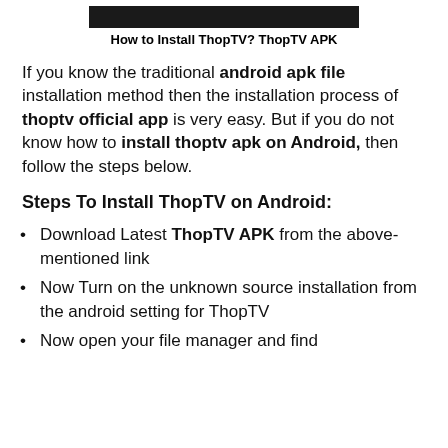[Figure (other): Dark banner/header image bar]
How to Install ThopTV? ThopTV APK
If you know the traditional android apk file installation method then the installation process of thoptv official app is very easy. But if you do not know how to install thoptv apk on Android, then follow the steps below.
Steps To Install ThopTV on Android:
Download Latest ThopTV APK from the above-mentioned link
Now Turn on the unknown source installation from the android setting for ThopTV
Now open your file manager and find